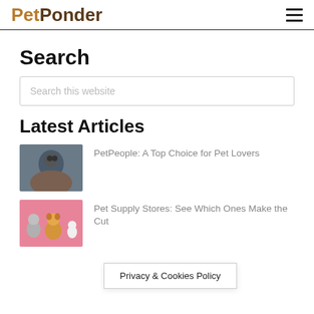PetPonder
Search
Search this website
Latest Articles
[Figure (photo): Man holding and nuzzling a small puppy outdoors, dark toned photo]
PetPeople: A Top Choice for Pet Lovers
[Figure (photo): Three pets on a pink background: a grey poodle, a corgi, and a small bird]
Pet Supply Stores: See Which Ones Make the Cut
Privacy & Cookies Policy